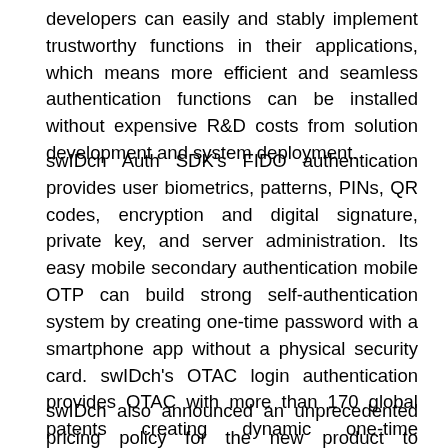developers can easily and stably implement trustworthy functions in their applications, which means more efficient and seamless authentication functions can be installed without expensive R&D costs from solution development and system deployment.
swIDch Auth SDK's FIDO authentication provides user biometrics, patterns, PINs, QR codes, encryption and digital signature, private key, and server administration. Its easy mobile secondary authentication mobile OTP can build strong self-authentication system by creating one-time password with a smartphone app without a physical security card. swIDch's OTAC login authentication provides OTAC with more than 170 global patents creating dynamic one-time authentication codes that cannot be reused, cannot be duplicated, and cannot be changed without communication with the server.
swIDch also announced an unprecedented pricing policy for the new product to empower organisations to develop